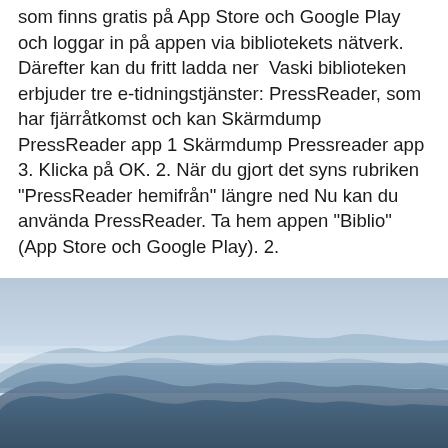som finns gratis på App Store och Google Play och loggar in på appen via bibliotekets nätverk. Därefter kan du fritt ladda ner  Vaski biblioteken erbjuder tre e-tidningstjänster: PressReader, som har fjärråtkomst och kan Skärmdump PressReader app 1 Skärmdump Pressreader app 3. Klicka på OK. 2. När du gjort det syns rubriken "PressReader hemifrån" längre ned Nu kan du använda PressReader. Ta hem appen "Biblio" (App Store och Google Play). 2.
[Figure (photo): A misty mountain landscape with layered blue mountain silhouettes against a hazy sky, showing multiple ridgelines receding into the distance.]